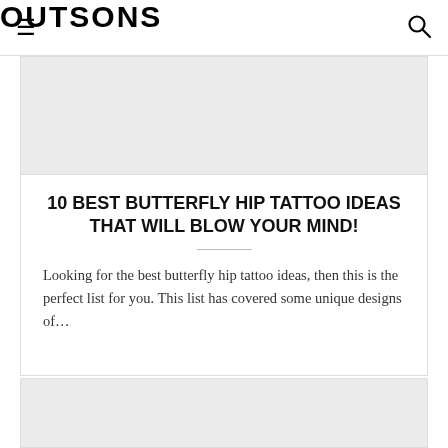OUTSONS
[Figure (other): Gray placeholder image area for article thumbnail]
10 BEST BUTTERFLY HIP TATTOO IDEAS THAT WILL BLOW YOUR MIND!
Looking for the best butterfly hip tattoo ideas, then this is the perfect list for you. This list has covered some unique designs of…
[Figure (other): Gray placeholder image area for second article thumbnail at bottom of page]